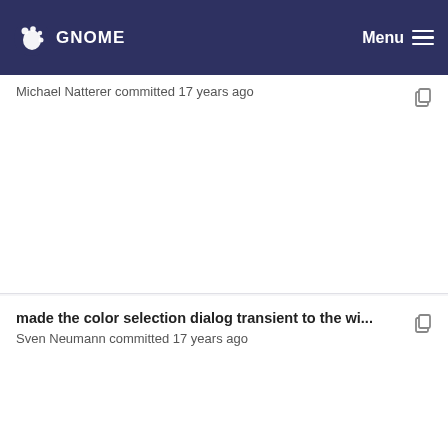GNOME | Menu
Michael Natterer committed 17 years ago
made the color selection dialog transient to the wi... Sven Neumann committed 17 years ago
moved the color picker button out of the row of no... Sven Neumann committed 17 years ago
put the hex entry above the color history again. Sven Neumann committed 17 years ago